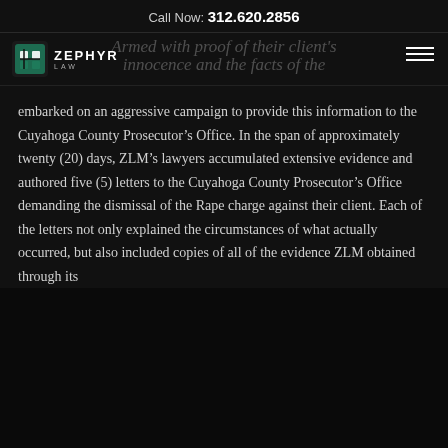Call Now: 312.620.2856
[Figure (logo): Zephyr Law logo with green icon and white text reading ZEPHYR LAW]
embarked on an aggressive campaign to provide this information to the Cuyahoga County Prosecutor's Office. In the span of approximately twenty (20) days, ZLM's lawyers accumulated extensive evidence and authored five (5) letters to the Cuyahoga County Prosecutor's Office demanding the dismissal of the Rape charge against their client. Each of the letters not only explained the circumstances of what actually occurred, but also included copies of all of the evidence ZLM obtained through its